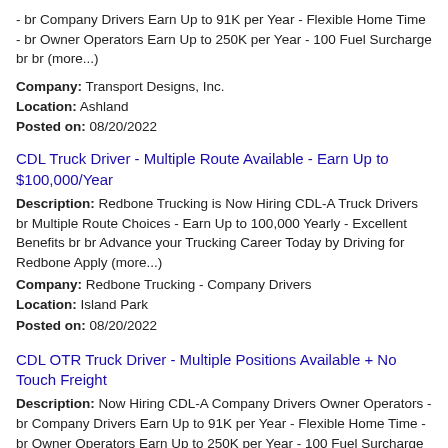- br Company Drivers Earn Up to 91K per Year - Flexible Home Time - br Owner Operators Earn Up to 250K per Year - 100 Fuel Surcharge br br (more...)
Company: Transport Designs, Inc.
Location: Ashland
Posted on: 08/20/2022
CDL Truck Driver - Multiple Route Available - Earn Up to $100,000/Year
Description: Redbone Trucking is Now Hiring CDL-A Truck Drivers br Multiple Route Choices - Earn Up to 100,000 Yearly - Excellent Benefits br br Advance your Trucking Career Today by Driving for Redbone Apply (more...)
Company: Redbone Trucking - Company Drivers
Location: Island Park
Posted on: 08/20/2022
CDL OTR Truck Driver - Multiple Positions Available + No Touch Freight
Description: Now Hiring CDL-A Company Drivers Owner Operators - br Company Drivers Earn Up to 91K per Year - Flexible Home Time - br Owner Operators Earn Up to 250K per Year - 100 Fuel Surcharge br br (more...)
Company: Transport Designs, Inc.